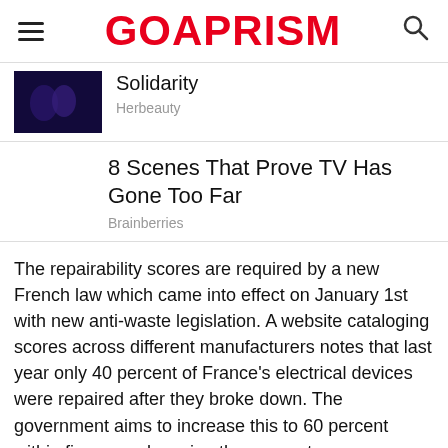GOAPRISM
Solidarity
Herbeauty
8 Scenes That Prove TV Has Gone Too Far
Brainberries
The repairability scores are required by a new French law which came into effect on January 1st with new anti-waste legislation. A website cataloging scores across different manufacturers notes that last year only 40 percent of France's electrical devices were repaired after they broke down. The government aims to increase this to 60 percent within five years by using the scores to